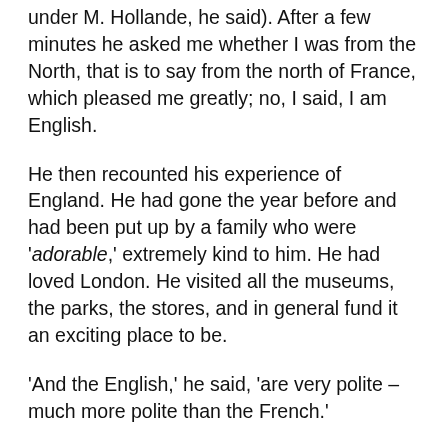under M. Hollande, he said). After a few minutes he asked me whether I was from the North, that is to say from the north of France, which pleased me greatly; no, I said, I am English.
He then recounted his experience of England. He had gone the year before and had been put up by a family who were 'adorable,' extremely kind to him. He had loved London. He visited all the museums, the parks, the stores, and in general fund it an exciting place to be.
'And the English,' he said, 'are very polite – much more polite than the French.'
I would have fallen off my seat if it had not been for the seat-belt. The strange thing is that I have found precisely the opposite: that the French are much more polite than the English.
Our opposite impressions, it seemed to me, were a cause for optimism, for they suggest that a) people...